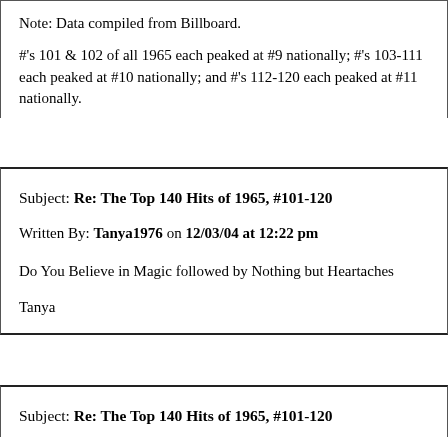Note: Data compiled from Billboard.
#'s 101 & 102 of all 1965 each peaked at #9 nationally; #'s 103-111 each peaked at #10 nationally; and #'s 112-120 each peaked at #11 nationally.
Subject: Re: The Top 140 Hits of 1965, #101-120
Written By: Tanya1976 on 12/03/04 at 12:22 pm
Do You Believe in Magic followed by Nothing but Heartaches
Tanya
Subject: Re: The Top 140 Hits of 1965, #101-120